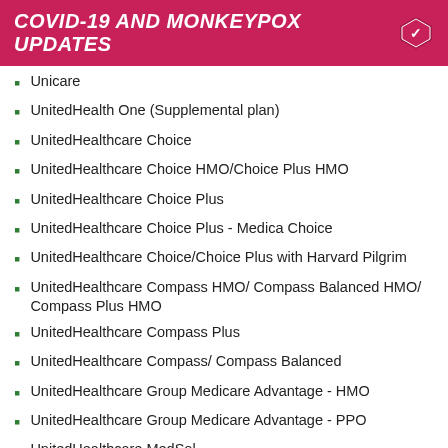COVID-19 AND MONKEYPOX UPDATES
Unicare
UnitedHealth One (Supplemental plan)
UnitedHealthcare Choice
UnitedHealthcare Choice HMO/Choice Plus HMO
UnitedHealthcare Choice Plus
UnitedHealthcare Choice Plus - Medica Choice
UnitedHealthcare Choice/Choice Plus with Harvard Pilgrim
UnitedHealthcare Compass HMO/ Compass Balanced HMO/ Compass Plus HMO
UnitedHealthcare Compass Plus
UnitedHealthcare Compass/ Compass Balanced
UnitedHealthcare Group Medicare Advantage - HMO
UnitedHealthcare Group Medicare Advantage - PPO
UnitedHealthcare MedSol...